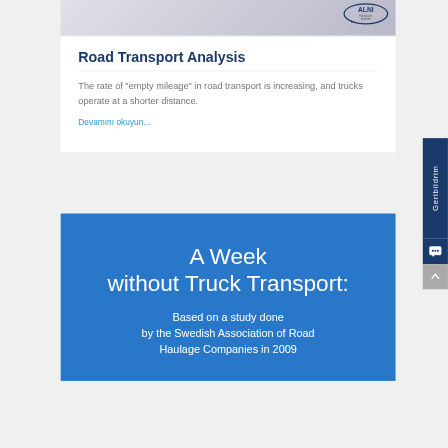[Figure (photo): Partial image at the top with an ALNI logo in the top right corner, white/grey background.]
Road Transport Analysis
The rate of "empty mileage" in road transport is increasing, and trucks operate at a shorter distance.
Devamını okuyun...
A Week without Truck Transport:
Based on a study done by the Swedish Association of Road Haulage Companies in 2009